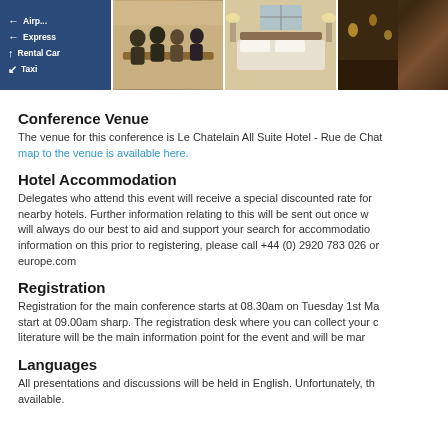[Figure (photo): Four horizontal photos: airport sign with Express/Rental Car/Taxi, group of people at a conference table, hotel room, and an evening/bar scene.]
Conference Venue
The venue for this conference is Le Chatelain All Suite Hotel - Rue de Chat... map to the venue is available here.
Hotel Accommodation
Delegates who attend this event will receive a special discounted rate for nearby hotels. Further information relating to this will be sent out once w... will always do our best to aid and support your search for accommodatio... information on this prior to registering, please call +44 (0) 2920 783 026 or europe.com
Registration
Registration for the main conference starts at 08.30am on Tuesday 1st Ma... start at 09.00am sharp. The registration desk where you can collect your c... literature will be the main information point for the event and will be mar...
Languages
All presentations and discussions will be held in English. Unfortunately, th... available.